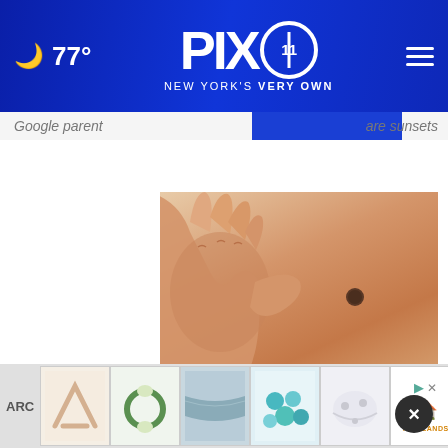🌙 77° | PIX11 NEW YORK'S VERY OWN
Google parent ... are sunsets ...
[Figure (photo): Close-up photo of a hand scratching skin with a mole visible on the back]
Do You Know What Plaque Psoriasis Is? (Take a Look)
[Figure (infographic): Bottom advertisement bar with thumbnail images and sponsor logos including TinyLands and Comscore]